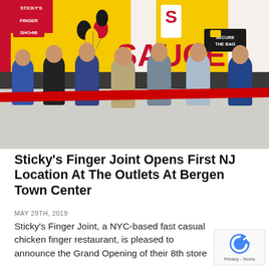[Figure (photo): Grand opening ribbon-cutting ceremony at Sticky's Finger Joint restaurant. Seven people are standing in a line holding a red ribbon, with colorful yellow and red branded wall graphics in the background featuring words like 'SAUCE' and 'SECURE THE BAG'. Black, yellow, and red balloons are visible. The restaurant interior has bright branded decor.]
Sticky's Finger Joint Opens First NJ Location At The Outlets At Bergen Town Center
MAY 29TH, 2019
Sticky's Finger Joint, a NYC-based fast casual chicken finger restaurant, is pleased to announce the Grand Opening of their 8th store